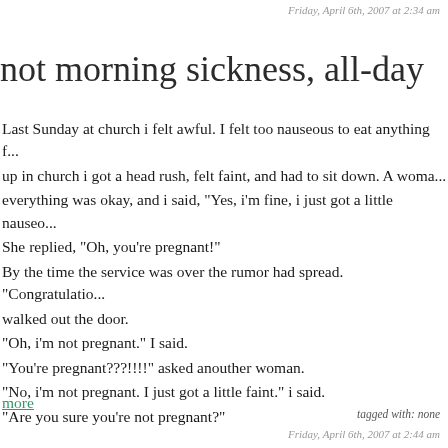Friday, April 6th, 2007 at 2:34 am
not morning sickness, all-day
Last Sunday at church i felt awful. I felt too nauseous to eat anything f... up in church i got a head rush, felt faint, and had to sit down. A woma... everything was okay, and i said, "Yes, i'm fine, i just got a little nauseo... She replied, "Oh, you're pregnant!" By the time the service was over the rumor had spread. "Congratulatio... walked out the door. "Oh, i'm not pregnant." I said. "You're pregnant???!!!" asked anouther woman. "No, i'm not pregnant. I just got a little faint." i said. "Are you sure you're not pregnant?"
more
tagged with: none
Friday, April 6th, 2007 at 2:44 am